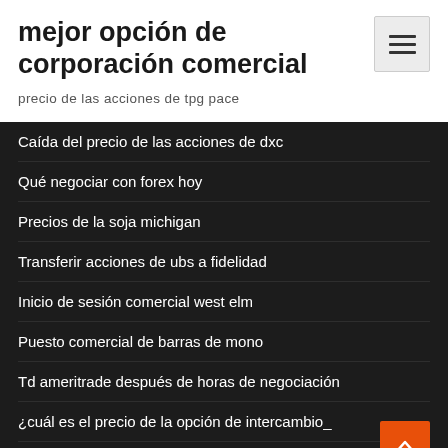mejor opción de corporación comercial
precio de las acciones de tpg pace
Caída del precio de las acciones de dxc
Qué negociar con forex hoy
Precios de la soja michigan
Transferir acciones de ubs a fidelidad
Inicio de sesión comercial west elm
Puesto comercial de barras de mono
Td ameritrade después de horas de negociación
¿cuál es el precio de la opción de intercambio_
Una guía para principiantes sobre la revisión en línea del